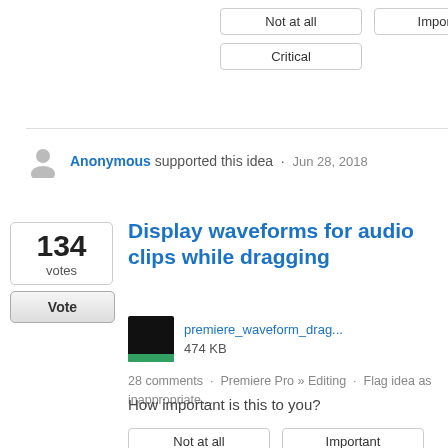Not at all
Important
Critical
Anonymous supported this idea · Jun 28, 2018
Display waveforms for audio clips while dragging
[Figure (screenshot): Thumbnail image of waveform drag screenshot labeled premiere_waveform_drag..., 474 KB]
28 comments · Premiere Pro » Editing · Flag idea as inappropriate…
How important is this to you?
Not at all
Important
Critical